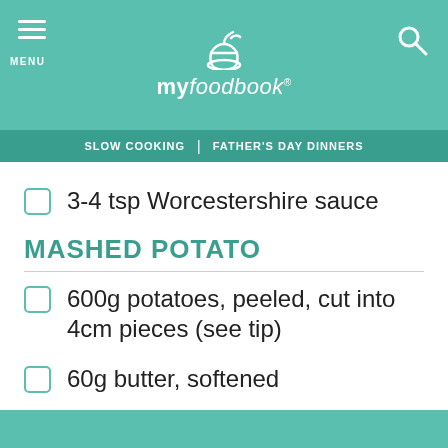myfoodbook
SLOW COOKING | FATHER'S DAY DINNERS
3-4 tsp Worcestershire sauce
MASHED POTATO
600g potatoes, peeled, cut into 4cm pieces (see tip)
60g butter, softened
1/3 cup milk, warmed